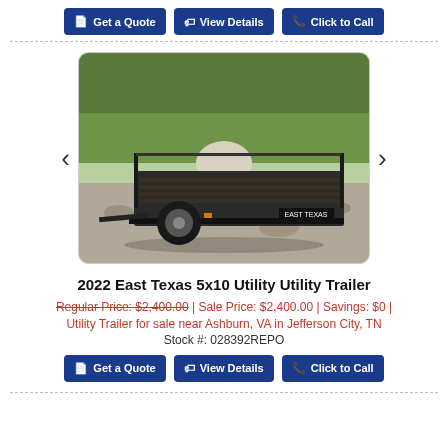[Figure (other): Three blue call-to-action buttons: Get a Quote, View Details, Click to Call]
[Figure (photo): Photo of a 2022 East Texas 5x10 black utility trailer on a gravel surface with trees in background, brand label visible on trailer frame]
2022 East Texas 5x10 Utility Utility Trailer
Regular Price: $2,400.00 | Sale Price: $2,400.00 | Savings: $0 |
Utility Trailer for sale near Ashburn, VA in Jefferson City, TN
Stock #: 028392REPO
[Figure (other): Three blue call-to-action buttons: Get a Quote, View Details, Click to Call]